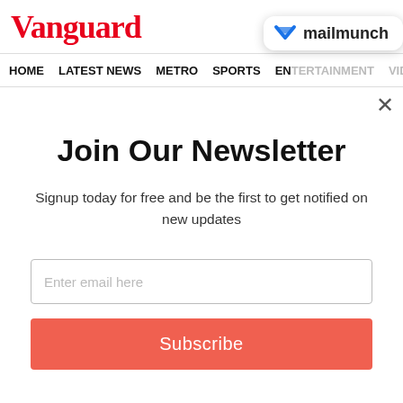Vanguard
Menu
HOME  LATEST NEWS  METRO  SPORTS  ENTERTAINMENT  VIDEOS
[Figure (logo): Mailmunch logo badge with blue M icon and text 'mailmunch']
Join Our Newsletter
Signup today for free and be the first to get notified on new updates
Enter email here
Subscribe